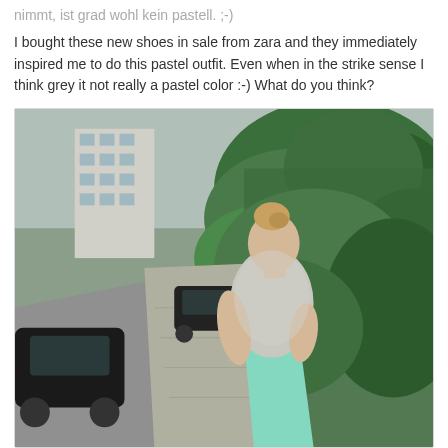nimmt, ist grad wohl kein pastell. ;-)
I bought these new shoes in sale from zara and they immediately inspired me to do this pastel outfit. Even when in the strike sense I think grey it not really a pastel color :-) What do you think?
[Figure (photo): A woman standing on a sidewalk/street, viewed from the side. She has blonde hair in a bun, wearing a light grey/white short-sleeve top and mint/turquoise green pants. Behind her is a street with parked and passing cars, apartment buildings, and dense green trees/bushes on the right.]